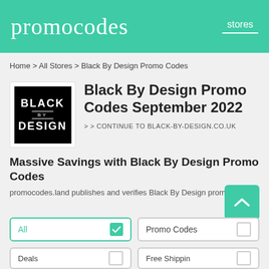promocodes | stores
Home > All Stores > Black By Design Promo Codes
[Figure (logo): Black By Design logo: white text on black square background reading BLACK / BY / DESIGN]
Black By Design Promo Codes September 2022
> > CONTINUE TO BLACK-BY-DESIGN.CO.UK
Massive Savings with Black By Design Promo Codes
promocodes.land publishes and verifies Black By Design promo...
All  ✓
Promo Codes  ☐